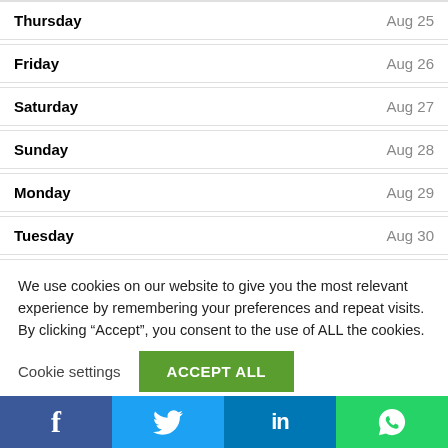| Day | Date |
| --- | --- |
| Thursday | Aug 25 |
| Friday | Aug 26 |
| Saturday | Aug 27 |
| Sunday | Aug 28 |
| Monday | Aug 29 |
| Tuesday | Aug 30 |
We use cookies on our website to give you the most relevant experience by remembering your preferences and repeat visits. By clicking “Accept”, you consent to the use of ALL the cookies.
Cookie settings   ACCEPT ALL